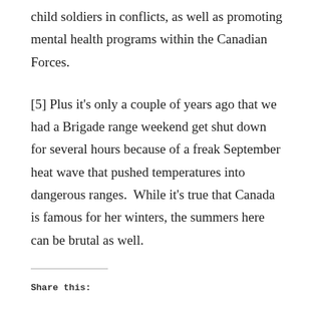child soldiers in conflicts, as well as promoting mental health programs within the Canadian Forces.
[5] Plus it's only a couple of years ago that we had a Brigade range weekend get shut down for several hours because of a freak September heat wave that pushed temperatures into dangerous ranges.  While it's true that Canada is famous for her winters, the summers here can be brutal as well.
Share this: